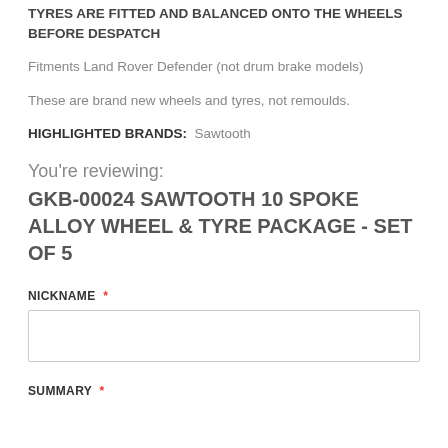TYRES ARE FITTED AND BALANCED ONTO THE WHEELS BEFORE DESPATCH
Fitments Land Rover Defender (not drum brake models)
These are brand new wheels and tyres, not remoulds.
HIGHLIGHTED BRANDS: Sawtooth
You're reviewing:
GKB-00024 SAWTOOTH 10 SPOKE ALLOY WHEEL & TYRE PACKAGE - SET OF 5
NICKNAME *
SUMMARY *